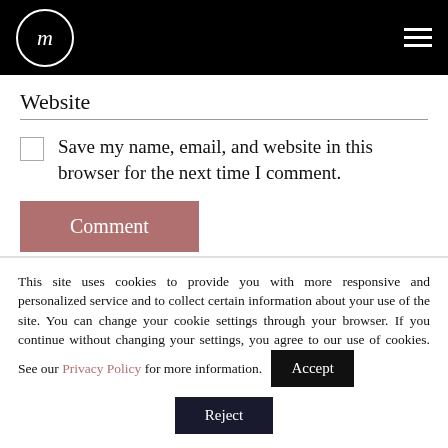m [logo] [hamburger menu]
Website
Save my name, email, and website in this browser for the next time I comment.
Comment
This site uses cookies to provide you with more responsive and personalized service and to collect certain information about your use of the site. You can change your cookie settings through your browser. If you continue without changing your settings, you agree to our use of cookies. See our Privacy Policy for more information.
Accept
Reject